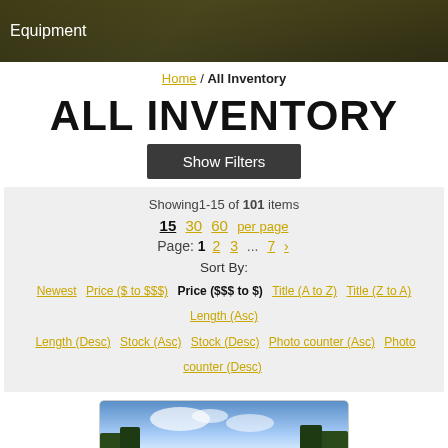Equipment
Home / All Inventory
ALL INVENTORY
Show Filters
Showing1-15 of 101 items
15  30  60  per page
Page: 1  2  3  ...  7  >
Sort By:
Newest  Price ($ to $$$)  Price ($$$ to $)  Title (A to Z)  Title (Z to A)  Length (Asc)  Length (Desc)  Stock (Asc)  Stock (Desc)  Photo counter (Asc)  Photo counter (Desc)
[Figure (photo): Partial view of an outdoor/nature photo with blue sky and trees, serving as a product image thumbnail]